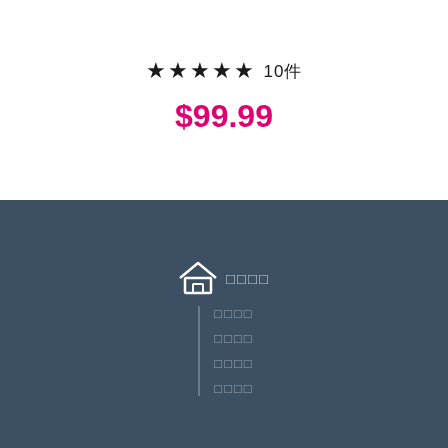★★★★★ 10件
$99.99
[Figure (illustration): Home icon followed by navigation menu items on dark blue background]
□□□□
□□□□
□□□□
□□□□